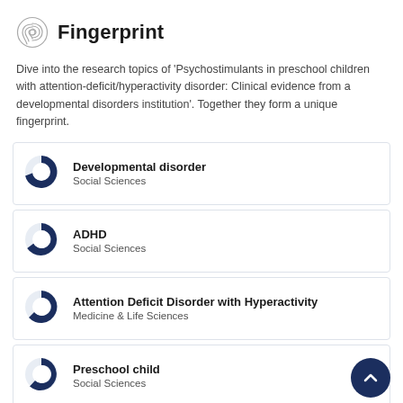Fingerprint
Dive into the research topics of 'Psychostimulants in preschool children with attention-deficit/hyperactivity disorder: Clinical evidence from a developmental disorders institution'. Together they form a unique fingerprint.
Developmental disorder
Social Sciences
ADHD
Social Sciences
Attention Deficit Disorder with Hyperactivity
Medicine & Life Sciences
Preschool child
Social Sciences